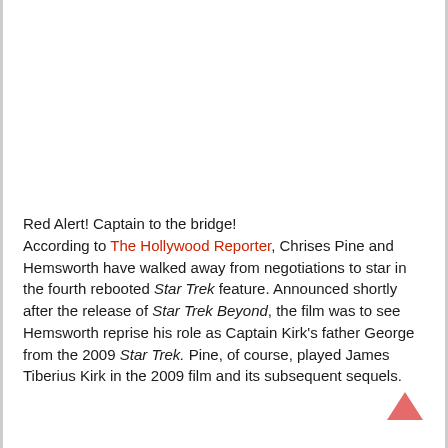[Figure (other): Blank white image placeholder area at top of page]
Red Alert! Captain to the bridge!
According to The Hollywood Reporter, Chrises Pine and Hemsworth have walked away from negotiations to star in the fourth rebooted Star Trek feature. Announced shortly after the release of Star Trek Beyond, the film was to see Hemsworth reprise his role as Captain Kirk's father George from the 2009 Star Trek. Pine, of course, played James Tiberius Kirk in the 2009 film and its subsequent sequels.